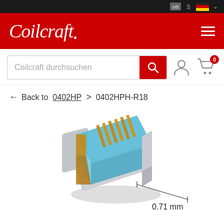Coilcraft
Coilcraft durchsuchen
← Back to 0402HP > 0402HPH-R18
[Figure (photo): Close-up photo of a Coilcraft 0402HPH-R18 SMD inductor component, showing a small blue rectangular chip with copper wire windings visible, mounted on metallic end caps. A dimension line indicates 0.71 mm width.]